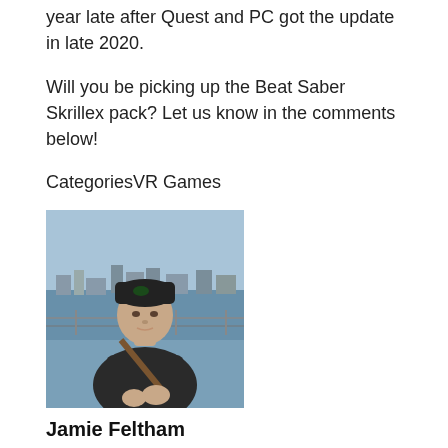year late after Quest and PC got the update in late 2020.
Will you be picking up the Beat Saber Skrillex pack? Let us know in the comments below!
CategoriesVR Games
[Figure (photo): Outdoor photo of a young man wearing a black beanie hat and dark jacket with a strap across his chest, standing in front of a railing with a cityscape and water visible in the background.]
Jamie Feltham
Jamie has been covering the VR industry since 2014 having come from a gaming and technology